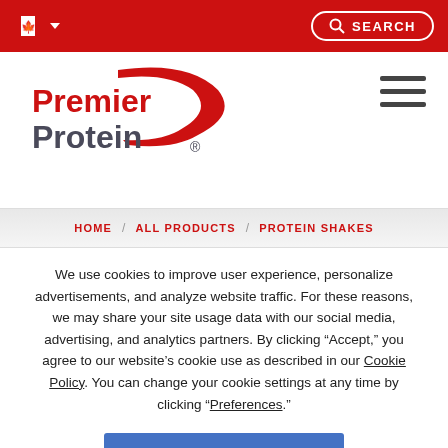Premier Protein Canada website header with flag selector and search button
[Figure (logo): Premier Protein logo with red swoosh and text]
HOME / ALL PRODUCTS / PROTEIN SHAKES
We use cookies to improve user experience, personalize advertisements, and analyze website traffic. For these reasons, we may share your site usage data with our social media, advertising, and analytics partners. By clicking “Accept,” you agree to our website’s cookie use as described in our Cookie Policy. You can change your cookie settings at any time by clicking “Preferences.”
ACCEPT